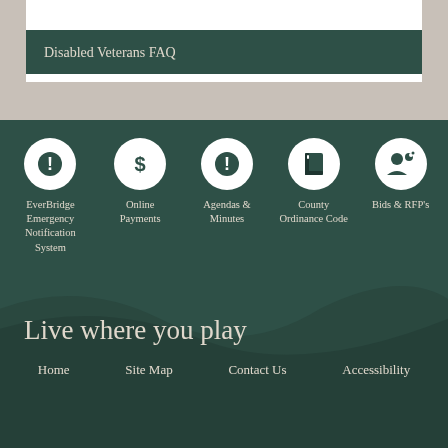Disabled Veterans FAQ
[Figure (infographic): Five icon quick-links in a row on a dark green background: EverBridge Emergency Notification System (alert icon), Online Payments (dollar sign icon), Agendas & Minutes (alert icon), County Ordinance Code (book icon), Bids & RFP's (person with speech bubble icon)]
Live where you play
Home   Site Map   Contact Us   Accessibility